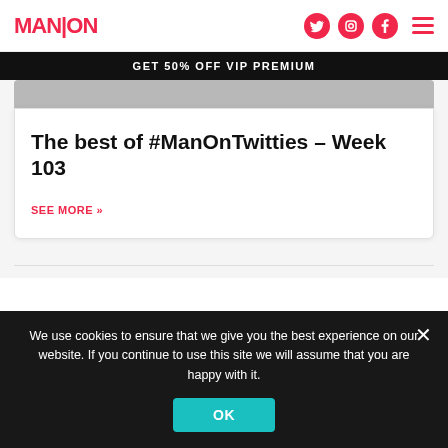MAN|ON
GET 50% OFF VIP PREMIUM
The best of #ManOnTwitties – Week 103
SEE MORE »
We use cookies to ensure that we give you the best experience on our website. If you continue to use this site we will assume that you are happy with it.